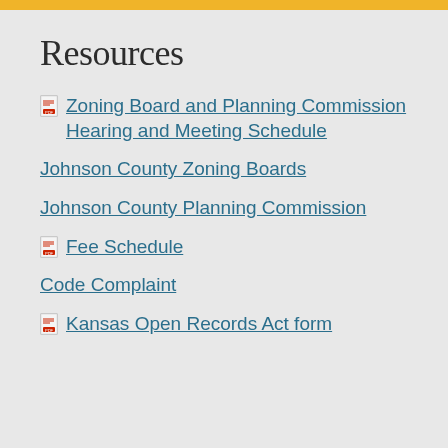Resources
Zoning Board and Planning Commission Hearing and Meeting Schedule
Johnson County Zoning Boards
Johnson County Planning Commission
Fee Schedule
Code Complaint
Kansas Open Records Act form